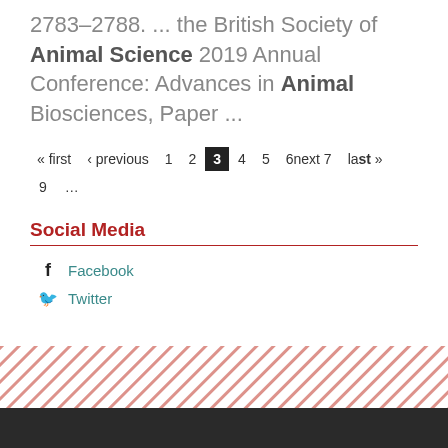2783–2788. ... the British Society of Animal Science 2019 Annual Conference: Advances in Animal Biosciences, Paper ...
« first ‹ previous 1 2 3 4 5 6next 7 last » 9 ...
Social Media
Facebook
Twitter